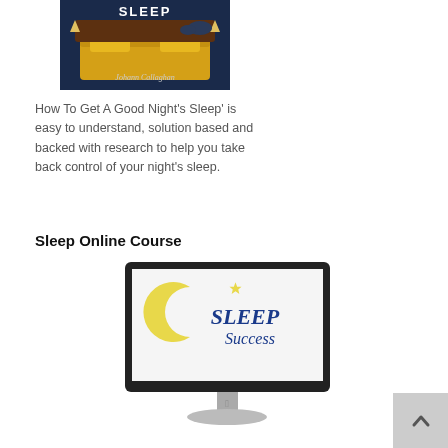[Figure (illustration): Book cover for 'How To Get A Good Night's Sleep' by Johann Callaghan, showing a bed with yellow bedding and a dark night sky background]
How To Get A Good Night's Sleep' is easy to understand, solution based and backed with research to help you take back control of your night's sleep.
Sleep Online Course
[Figure (screenshot): iMac computer monitor displaying the 'Sleep Success' logo — a yellow crescent moon with a star and blue script text]
[Figure (illustration): Back to top button — grey square with upward-pointing chevron arrow]